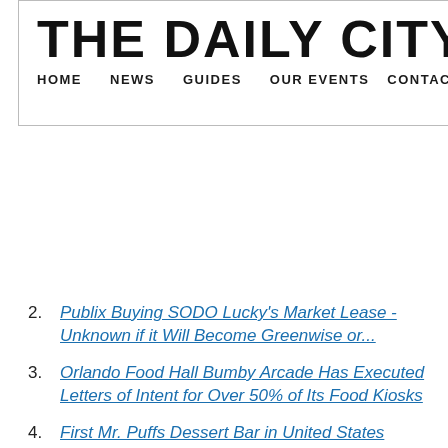THE DAILY CITY
HOME  NEWS  GUIDES  OUR EVENTS  CONTACT
2. Publix Buying SODO Lucky's Market Lease - Unknown if it Will Become Greenwise or...
3. Orlando Food Hall Bumby Arcade Has Executed Letters of Intent for Over 50% of Its Food Kiosks
4. First Mr. Puffs Dessert Bar in United States Coming to Florida Mall
5. Every Item on the 2020 SeaWorld Seven Seas Food Festival Menu
6. All Orlando Area Lucky's Markets